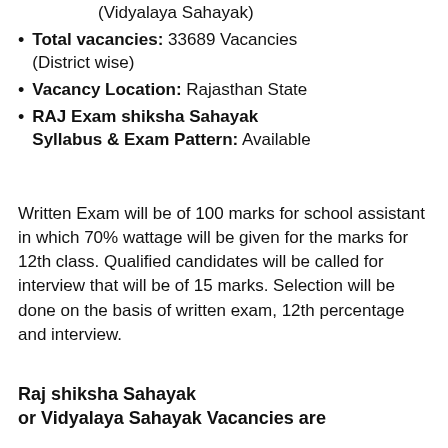(Vidyalaya Sahayak)
Total vacancies: 33689 Vacancies (District wise)
Vacancy Location: Rajasthan State
RAJ Exam shiksha Sahayak Syllabus & Exam Pattern: Available
Written Exam will be of 100 marks for school assistant in which 70% wattage will be given for the marks for 12th class. Qualified candidates will be called for interview that will be of 15 marks. Selection will be done on the basis of written exam, 12th percentage and interview.
Raj shiksha Sahayak or Vidyalaya Sahayak Vacancies are